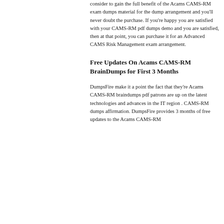consider to gain the full benefit of the Acams CAMS-RM exam dumps material for the dump arrangement and you'll never doubt the purchase. If you're happy you are satisfied with your CAMS-RM pdf dumps demo and you are satisfied, then at that point, you can purchase it for an Advanced CAMS Risk Management exam arrangement.
Free Updates On Acams CAMS-RM BrainDumps for First 3 Months
DumpsFire make it a point the fact that they're Acams CAMS-RM braindumps pdf patrons are up on the latest technologies and advances in the IT region . CAMS-RM dumps affirmation. DumpsFire provides 3 months of free updates to the Acams CAMS-RM